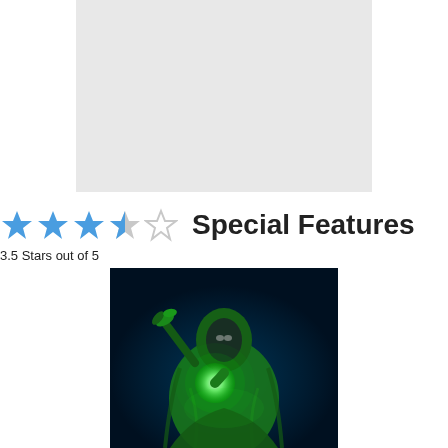[Figure (other): Gray placeholder box for video/image content]
Special Features
3.5 Stars out of 5
[Figure (illustration): Animated character in green cloak holding a glowing orb, dark blue background]